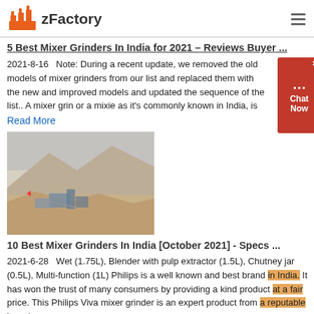zFactory
5 Best Mixer Grinders In India for 2021 – Reviews Buyer ...
2021-8-16   Note: During a recent update, we removed the old models of mixer grinders from our list and replaced them with the new and improved models and updated the sequence of the list.. A mixer grinder or a mixie as it's commonly known in India, is
Read More
[Figure (photo): A mining or quarrying site with heavy machinery in a mountainous/hilly landscape with dusty terrain.]
10 Best Mixer Grinders In India [October 2021] - Specs ...
2021-6-28   Wet (1.75L), Blender with pulp extractor (1.5L), Chutney jar (0.5L), Multi-function (1L) Philips is a well known and best brand in India. It has won the trust of many consumers by providing a kind product at a fair price. This Philips Viva mixer grinder is an expert product from a reputable brand.